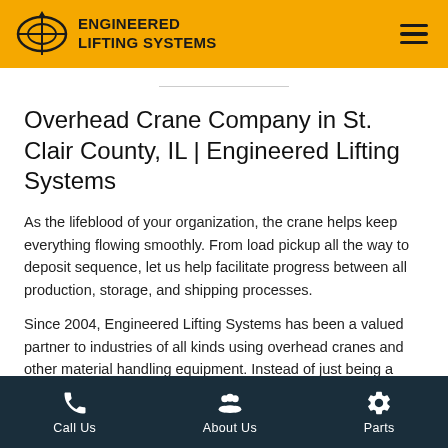[Figure (logo): Engineered Lifting Systems logo with compass/crosshair icon on gold/yellow header background, with hamburger menu icon on the right]
Overhead Crane Company in St. Clair County, IL | Engineered Lifting Systems
As the lifeblood of your organization, the crane helps keep everything flowing smoothly. From load pickup all the way to deposit sequence, let us help facilitate progress between all production, storage, and shipping processes.
Since 2004, Engineered Lifting Systems has been a valued partner to industries of all kinds using overhead cranes and other material handling equipment. Instead of just being a sales outlet for crane equipment, parts, repairs, and servicing, we take the time to consult with customers first to achieve the best results for whatever your
Call Us   About Us   Parts